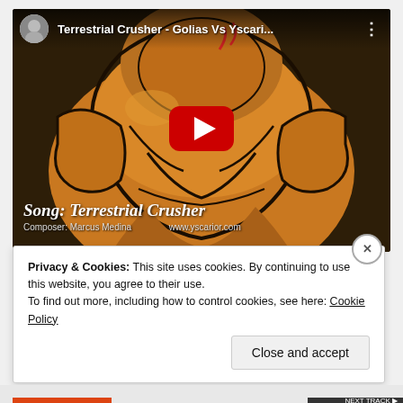[Figure (screenshot): YouTube video embed showing 'Terrestrial Crusher - Golias Vs Yscari...' with a channel avatar, video title in header, large orange/yellow illustrated character as thumbnail, YouTube play button in center, and overlay text 'Song: Terrestrial Crusher' and 'Composer: Marcus Medina' at the bottom left.]
Privacy & Cookies: This site uses cookies. By continuing to use this website, you agree to their use.
To find out more, including how to control cookies, see here: Cookie Policy
Close and accept